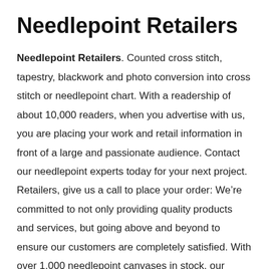Needlepoint Retailers
Needlepoint Retailers. Counted cross stitch, tapestry, blackwork and photo conversion into cross stitch or needlepoint chart. With a readership of about 10,000 readers, when you advertise with us, you are placing your work and retail information in front of a large and passionate audience. Contact our needlepoint experts today for your next project. Retailers, give us a call to place your order: We’re committed to not only providing quality products and services, but going above and beyond to ensure our customers are completely satisfied. With over 1,000 needlepoint canvases in stock, our selection is guaranteed to appeal to all tastes and budgets. Browse our products, and you’re sure to fall in